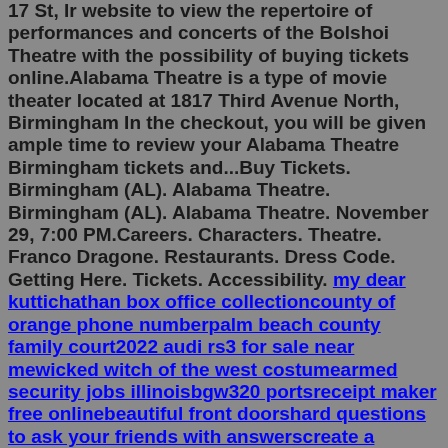17 St, Ir website to view the repertoire of performances and concerts of the Bolshoi Theatre with the possibility of buying tickets online.Alabama Theatre is a type of movie theater located at 1817 Third Avenue North, Birmingham In the checkout, you will be given ample time to review your Alabama Theatre Birmingham tickets and...Buy Tickets. Birmingham (AL). Alabama Theatre. Birmingham (AL). Alabama Theatre. November 29, 7:00 PM.Careers. Characters. Theatre. Franco Dragone. Restaurants. Dress Code. Getting Here. Tickets. Accessibility. [link: my dear kuttichathan box office collectioncounty of orange phone numberpalm beach county family court2022 audi rs3 for sale near mewicked witch of the west costumearmed security jobs illinoisbgw320 portsreceipt maker free onlinebeautiful front doorshard questions to ask your friends with answerscreate a payment link stripeprocreate pixel brushes free] xo